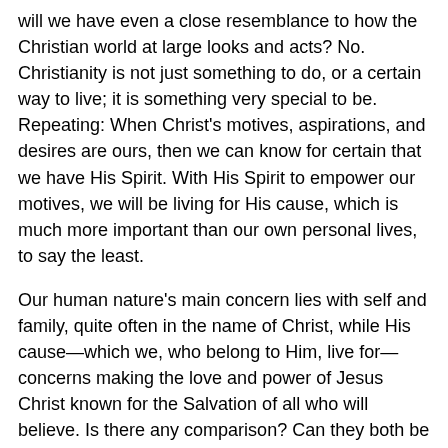will we have even a close resemblance to how the Christian world at large looks and acts? No. Christianity is not just something to do, or a certain way to live; it is something very special to be. Repeating: When Christ's motives, aspirations, and desires are ours, then we can know for certain that we have His Spirit. With His Spirit to empower our motives, we will be living for His cause, which is much more important than our own personal lives, to say the least.
Our human nature's main concern lies with self and family, quite often in the name of Christ, while His cause—which we, who belong to Him, live for—concerns making the love and power of Jesus Christ known for the Salvation of all who will believe. Is there any comparison? Can they both be classified as genuine Christianity, just different ways of believing? Never. At this time we will allow Jesus Christ to live on this earth again through our bodies. If that is not our reason for life, then forget it; we do not belong to Christ even in a small way. We must always remember that there is another spirit in the world and he is the unholy spirit. That spirit, when dealing with Christians, takes the identity of our Holy Spirit.